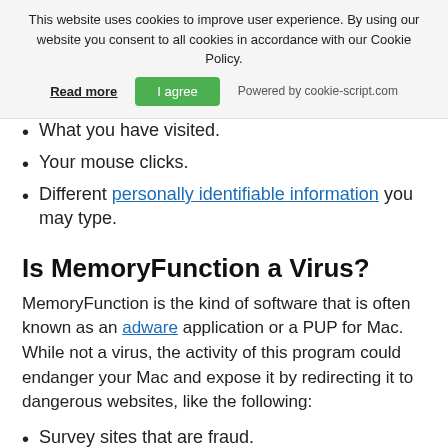This website uses cookies to improve user experience. By using our website you consent to all cookies in accordance with our Cookie Policy. Read more | I agree | Powered by cookie-script.com
What you have visited.
Your mouse clicks.
Different personally identifiable information you may type.
Is MemoryFunction a Virus?
MemoryFunction is the kind of software that is often known as an adware application or a PUP for Mac. While not a virus, the activity of this program could endanger your Mac and expose it by redirecting it to dangerous websites, like the following:
Survey sites that are fraud.
Phishing pages.